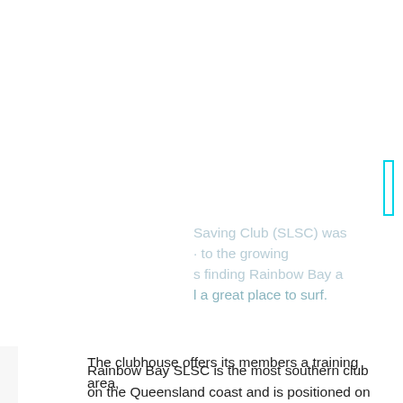Saving Club (SLSC) was · to the growing s finding Rainbow Bay a l a great place to surf.
Rainbow Bay SLSC is the most southern club on the Queensland coast and is positioned on one of the Gold Coast's only north facing beaches, providing sheltered conditions for swimming. There are picnic tables, kids playground, public BBQs and toilets. Volunteers patrol the beach every weekend from September to May and Gold Coast City Council Lifeguards patrol the beach outside these times.
The clubhouse offers its members a training area,